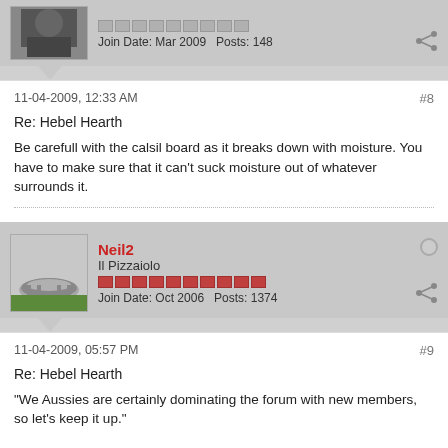[Figure (photo): User avatar - small partial photo of a person visible at top]
Join Date: Mar 2009   Posts: 148
11-04-2009, 12:33 AM   #8
Re: Hebel Hearth
Be carefull with the calsil board as it breaks down with moisture. You have to make sure that it can't suck moisture out of whatever surrounds it.
[Figure (photo): User avatar - photo of a round stone table with legs outdoors]
Neil2
Il Pizzaiolo
Join Date: Oct 2006   Posts: 1374
11-04-2009, 05:57 PM   #9
Re: Hebel Hearth
"We Aussies are certainly dominating the forum with new members, so let's keep it up."

Building season down there. We will catch up with you in the spring.